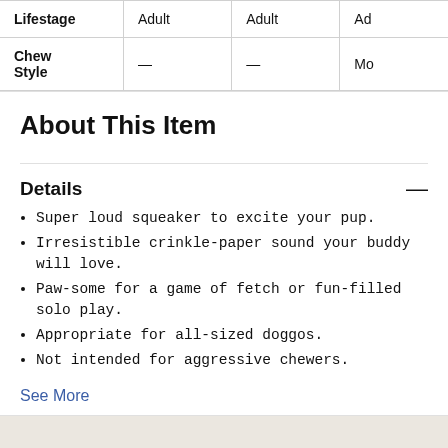|  | Col1 | Col2 | Col3 |
| --- | --- | --- | --- |
| Lifestage | Adult | Adult | Ad... |
| Chew Style | — | — | Mo... |
About This Item
Details
Super loud squeaker to excite your pup.
Irresistible crinkle-paper sound your buddy will love.
Paw-some for a game of fetch or fun-filled solo play.
Appropriate for all-sized doggos.
Not intended for aggressive chewers.
See More
[Figure (photo): Bottom section showing a beige/tan background area, partially visible at bottom of page]